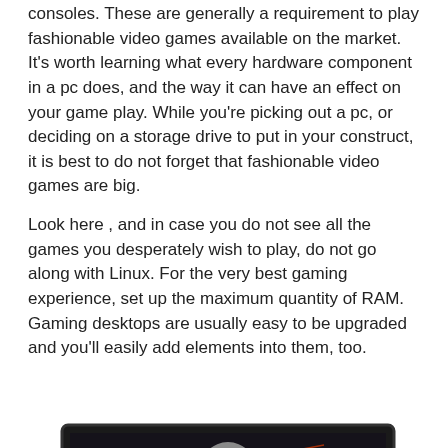consoles. These are generally a requirement to play fashionable video games available on the market. It's worth learning what every hardware component in a pc does, and the way it can have an effect on your game play. While you're picking out a pc, or deciding on a storage drive to put in your construct, it is best to do not forget that fashionable video games are big.
Look here , and in case you do not see all the games you desperately wish to play, do not go along with Linux. For the very best gaming experience, set up the maximum quantity of RAM. Gaming desktops are usually easy to be upgraded and you'll easily add elements into them, too.
[Figure (illustration): A video game character (armored warrior) appearing to leap out of a dark laptop/monitor screen, with red glowing eyes/fire effects, surrounded by a dramatic battle scene.]